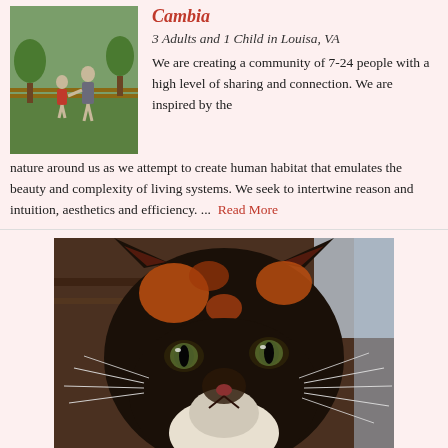Cambia
3 Adults and 1 Child in Louisa, VA
We are creating a community of 7-24 people with a high level of sharing and connection. We are inspired by the nature around us as we attempt to create human habitat that emulates the beauty and complexity of living systems. We seek to intertwine reason and intuition, aesthetics and efficiency. ... Read More
[Figure (photo): Close-up photo of a tortoiseshell cat with black, orange and white fur, looking directly at the camera]
Posted by Acorn Community